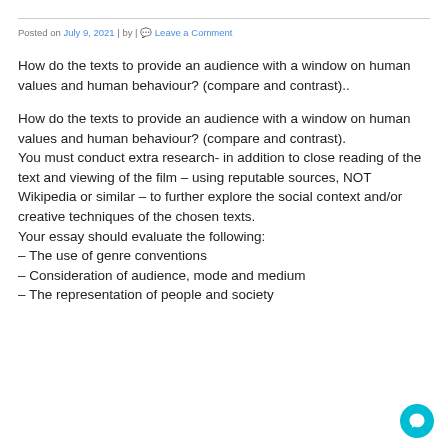Posted on July 9, 2021 | by | Leave a Comment
How do the texts to provide an audience with a window on human values and human behaviour? (compare and contrast)..
How do the texts to provide an audience with a window on human values and human behaviour? (compare and contrast).
You must conduct extra research- in addition to close reading of the text and viewing of the film – using reputable sources, NOT Wikipedia or similar – to further explore the social context and/or creative techniques of the chosen texts.
Your essay should evaluate the following:
– The use of genre conventions
– Consideration of audience, mode and medium
– The representation of people and society